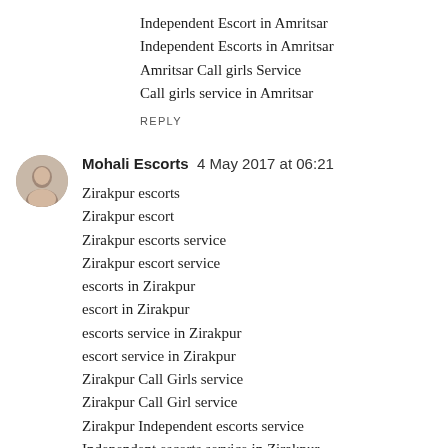Independent Escort in Amritsar
Independent Escorts in Amritsar
Amritsar Call girls Service
Call girls service in Amritsar
REPLY
[Figure (photo): Circular avatar image of Mohali Escorts commenter]
Mohali Escorts  4 May 2017 at 06:21
Zirakpur escorts
Zirakpur escort
Zirakpur escorts service
Zirakpur escort service
escorts in Zirakpur
escort in Zirakpur
escorts service in Zirakpur
escort service in Zirakpur
Zirakpur Call Girls service
Zirakpur Call Girl service
Zirakpur Independent escorts service
Independent escorts service in Zirakpur
Zirakpur escorts Agency